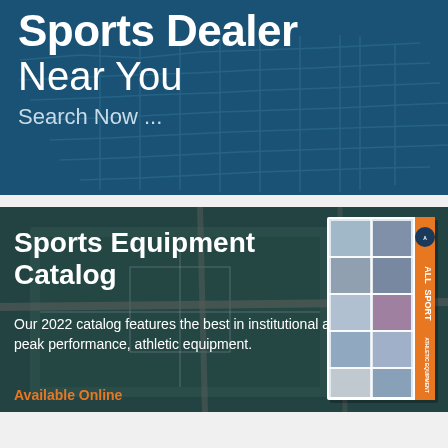[Figure (illustration): Dark blue banner with US state map overlay in the background, showing text 'Sports Dealer Near You – Search Now ...']
Sports Dealer Near You
Search Now ...
[Figure (illustration): Dark navy banner with aerial view of sports complex in background and a catalog book image on the right showing 'ALL SPORT ATHLETIC EQUIPMENT' catalog. Text overlay: 'Sports Equipment Catalog – Our 2022 catalog features the best in institutional and peak performance, athletic equipment. Available Online']
Sports Equipment Catalog
Our 2022 catalog features the best in institutional and peak performance, athletic equipment.
Available Online